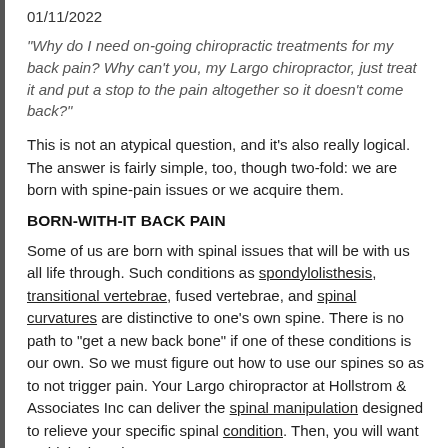01/11/2022
"Why do I need on-going chiropractic treatments for my back pain? Why can't you, my Largo chiropractor, just treat it and put a stop to the pain altogether so it doesn't come back?"
This is not an atypical question, and it's also really logical. The answer is fairly simple, too, though two-fold: we are born with spine-pain issues or we acquire them.
BORN-WITH-IT BACK PAIN
Some of us are born with spinal issues that will be with us all life through. Such conditions as spondylolisthesis, transitional vertebrae, fused vertebrae, and spinal curvatures are distinctive to one's own spine. There is no path to "get a new back bone" if one of these conditions is our own. So we must figure out how to use our spines so as to not trigger pain. Your Largo chiropractor at Hollstrom & Associates Inc can deliver the spinal manipulation designed to relieve your specific spinal condition. Then, you will want to think about its